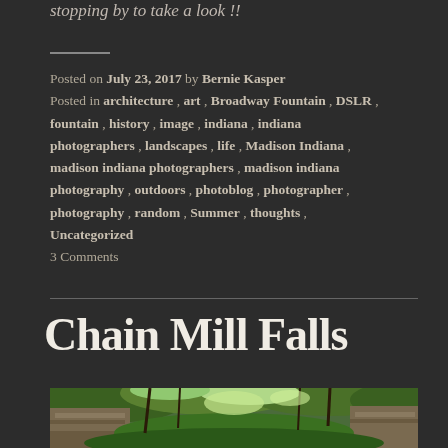stopping by to take a look !!
Posted on July 23, 2017 by Bernie Kasper
Posted in architecture, art, Broadway Fountain, DSLR, fountain, history, image, indiana, indiana photographers, landscapes, life, Madison Indiana, madison indiana photographers, madison indiana photography, outdoors, photoblog, photographer, photography, random, Summer, thoughts, Uncategorized
3 Comments
Chain Mill Falls
[Figure (photo): Photograph of Chain Mill Falls area showing lush green trees and rocky cliff faces]